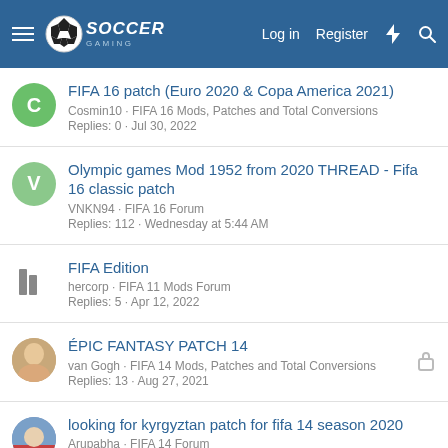SoccerGaming - Log in  Register
FIFA 16 patch (Euro 2020 & Copa America 2021)
Cosmin10 · FIFA 16 Mods, Patches and Total Conversions
Replies: 0 · Jul 30, 2022
Olympic games Mod 1952 from 2020 THREAD - Fifa 16 classic patch
VNKN94 · FIFA 16 Forum
Replies: 112 · Wednesday at 5:44 AM
FIFA Edition
hercorp · FIFA 11 Mods Forum
Replies: 5 · Apr 12, 2022
ÉPIC FANTASY PATCH 14
van Gogh · FIFA 14 Mods, Patches and Total Conversions
Replies: 13 · Aug 27, 2021
looking for kyrgyztan patch for fifa 14 season 2020
Arupabha · FIFA 14 Forum